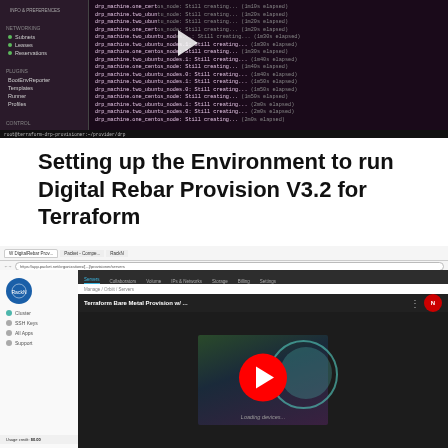[Figure (screenshot): Terminal/console screenshot showing Terraform provisioning output with drp_machine entries showing 'Still creating...' messages with elapsed times from 1m10s to 2m0s. Left sidebar shows a navigation menu with sections including NETWORKING (Subnets, Leases, Reservations) and PLUGINS (BootEnvReporter, Templates, Runner, Profiles). A play button overlay is visible in the center.]
Setting up the Environment to run Digital Rebar Provision V3.2 for Terraform
[Figure (screenshot): YouTube video screenshot showing 'Terraform Bare Metal Provision w/...' video thumbnail on the RackN YouTube channel page. The browser shows packet.net URL, with navigation tabs for Servers, Collaborators, Volume, IPs & Networks, Storage, Billing, Settings. Left sidebar shows RackN logo and navigation items (Cluster, SSH Keys, All Apps, Support). The video thumbnail shows a loading screen with 'Loading devices...' text. A large red YouTube play button is visible in the center of the thumbnail with decorative circular elements.]